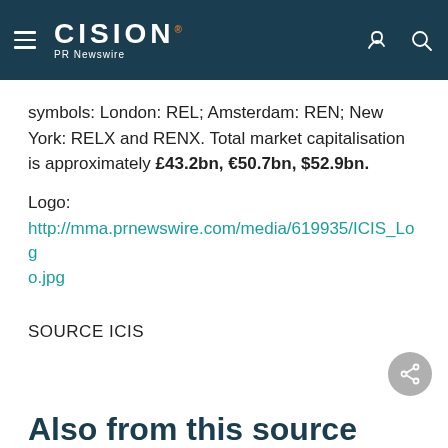[Figure (logo): Cision PR Newswire website header with hamburger menu, Cision logo, phone icon, and search icon on dark teal background]
symbols: London: REL; Amsterdam: REN; New York: RELX and RENX. Total market capitalisation is approximately £43.2bn, €50.7bn, $52.9bn.
Logo:
http://mma.prnewswire.com/media/619935/ICIS_Logo.jpg
SOURCE ICIS
Also from this source